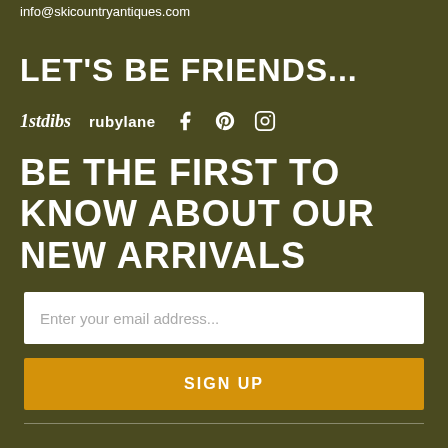info@skicountryantiques.com
LET'S BE FRIENDS...
[Figure (logo): Social and marketplace links row: 1stdibs (italic bold), rubylane (bold), Facebook icon, Pinterest icon, Instagram icon]
BE THE FIRST TO KNOW ABOUT OUR NEW ARRIVALS
Enter your email address...
SIGN UP